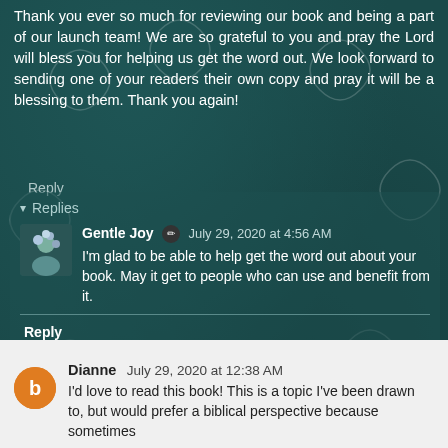Thank you ever so much for reviewing our book and being a part of our launch team! We are so grateful to you and pray the Lord will bless you for helping us get the word out. We look forward to sending one of your readers their own copy and pray it will be a blessing to them. Thank you again!
Reply
Replies
Gentle Joy  ✏  July 29, 2020 at 4:56 AM
I'm glad to be able to help get the word out about your book. May it get to people who can use and benefit from it.
Reply
Dianne  July 29, 2020 at 12:38 AM
I'd love to read this book! This is a topic I've been drawn to, but would prefer a biblical perspective because sometimes